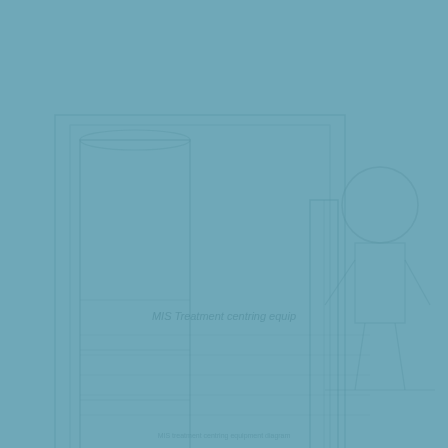[Figure (illustration): A faded teal/blue-grey illustrated medical or clinical diagram showing equipment silhouettes — appears to include laboratory or treatment apparatus such as tall containers/cylinders and a figure (person or medical robot) on the right side. In the lower middle area, partially visible text reading 'MIS Treatment centring equip'. The entire image has a low-contrast monotone teal appearance, like a watermark or ghost image on a solid teal background.]